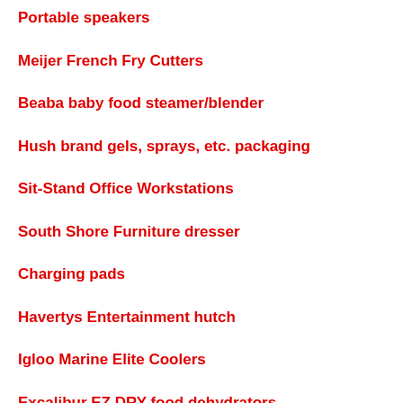Portable speakers
Meijer French Fry Cutters
Beaba baby food steamer/blender
Hush brand gels, sprays, etc. packaging
Sit-Stand Office Workstations
South Shore Furniture dresser
Charging pads
Havertys Entertainment hutch
Igloo Marine Elite Coolers
Excalibur EZ DRY food dehydrators